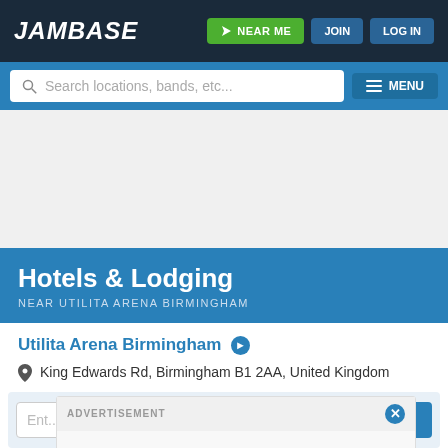JamBase — NEAR ME  JOIN  LOG IN
[Figure (screenshot): Search bar with magnifying glass icon and placeholder text 'Search locations, bands, etc...' and MENU button]
Hotels & Lodging
NEAR UTILITA ARENA BIRMINGHAM
Utilita Arena Birmingham ❯
King Edwards Rd, Birmingham B1 2AA, United Kingdom
ADVERTISEMENT